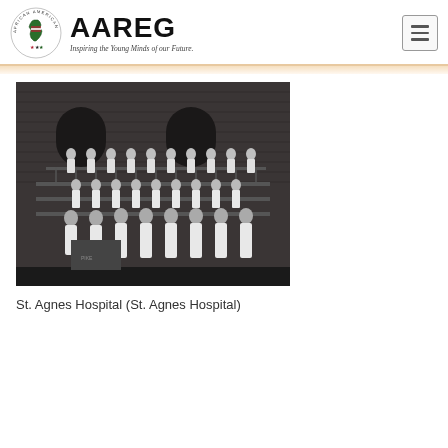AAREG — Inspiring the Young Minds of our Future.
[Figure (photo): Black and white photograph of a large group of nurses in white uniforms and caps posing on the steps and balcony of a brick building at St. Agnes Hospital.]
St. Agnes Hospital (St. Agnes Hospital)